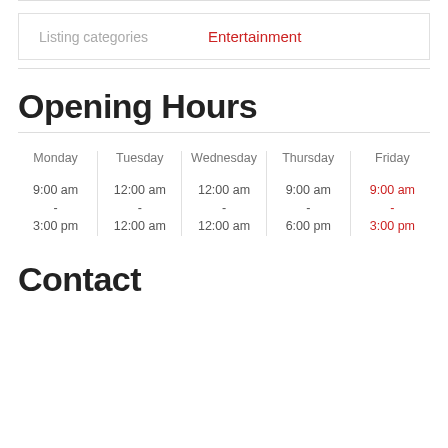Listing categories   Entertainment
Opening Hours
| Monday | Tuesday | Wednesday | Thursday | Friday |
| --- | --- | --- | --- | --- |
| 9:00 am
-
3:00 pm | 12:00 am
-
12:00 am | 12:00 am
-
12:00 am | 9:00 am
-
6:00 pm | 9:00 am
-
3:00 pm |
Contact